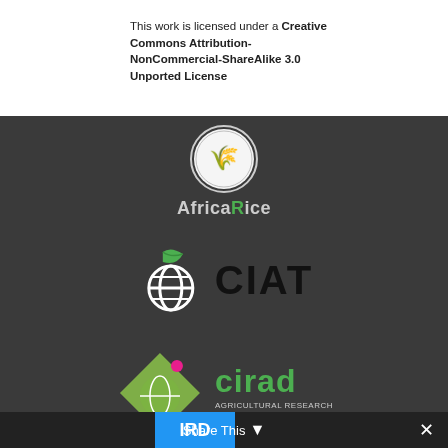This work is licensed under a Creative Commons Attribution-NonCommercial-ShareAlike 3.0 Unported License
[Figure (logo): AfricaRice logo — circular emblem with rice plant icon above the text 'AfricaRice' in dark and green lettering]
[Figure (logo): CIAT logo — green leaf/globe icon to the left of bold 'CIAT' text in dark/black]
[Figure (logo): cirad logo — diamond shape with globe/leaf and pink dot, next to 'cirad' in green text with tagline 'AGRICULTURAL RESEARCH FOR DEVELOPMENT']
[Figure (logo): IRD logo partially visible at bottom with 'Share This' overlay button and close X button]